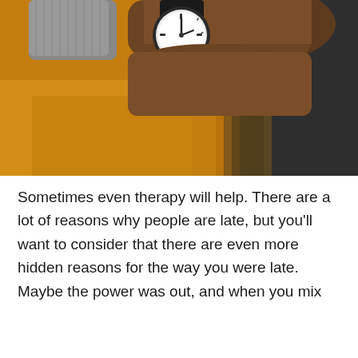[Figure (photo): Close-up photo of a wristwatch on a person's wrist, with an orange/amber background and a dark cylindrical object on the right side. The watch has a white face with a dark strap and the person is wearing a grey knit sleeve.]
Sometimes even therapy will help. There are a lot of reasons why people are late, but you'll want to consider that there are even more hidden reasons for the way you were late. Maybe the power was out, and when you mix